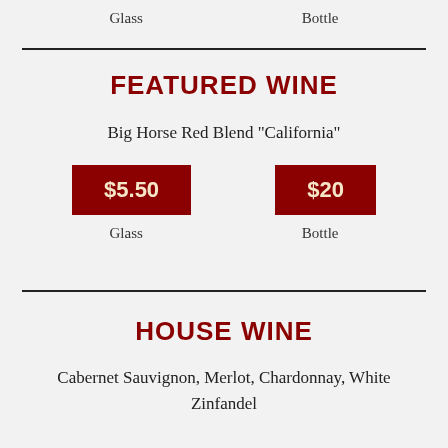Glass    Bottle
FEATURED WINE
Big Horse Red Blend "California"
$5.50  Glass   $20  Bottle
HOUSE WINE
Cabernet Sauvignon, Merlot, Chardonnay, White Zinfandel